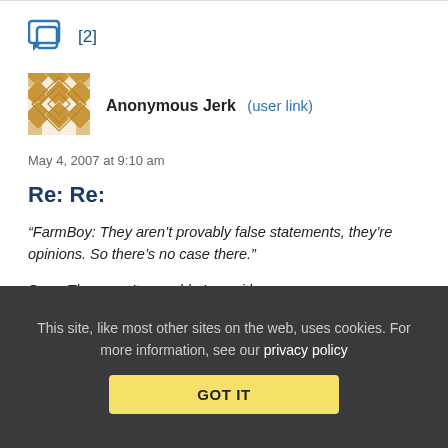[Figure (illustration): Comment icon with speech bubble showing [2]]
[Figure (illustration): User avatar: golden geometric mosaic pattern]
Anonymous Jerk (user link)
May 4, 2007 at 9:10 am
Re: Re:
“FarmBoy: They aren’t provably false statements, they’re opinions. So there’s no case there.”
Greg: They aren't provably true either…
This site, like most other sites on the web, uses cookies. For more information, see our privacy policy
GOT IT